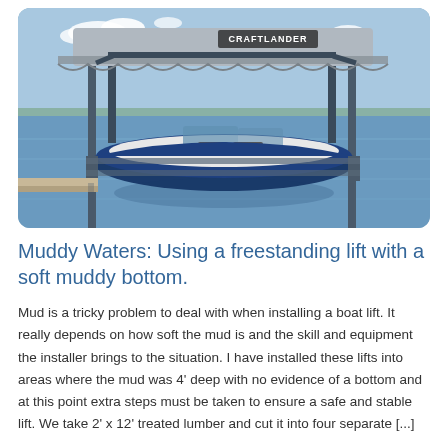[Figure (photo): A boat on a freestanding Craftlander boat lift with a gray canopy cover, situated over water at a dock on a calm lake with trees in the background.]
Muddy Waters: Using a freestanding lift with a soft muddy bottom.
Mud is a tricky problem to deal with when installing a boat lift.  It really depends on how soft the mud is and the skill and equipment the installer brings to the situation.  I have installed these lifts into areas where the mud was 4' deep with no evidence of a bottom and at this point extra steps must be taken to ensure a safe and stable lift.  We take 2' x 12' treated lumber and cut it into four separate [...]